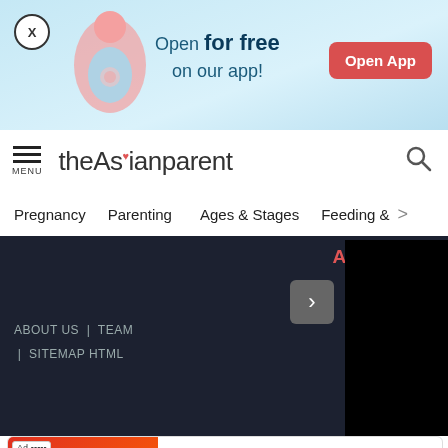[Figure (screenshot): App promotion banner with light blue background, pregnant woman illustration, 'Open for free on our app!' text and red 'Open App' button, with X close button]
theAsianparent — site navigation header with menu icon, logo, and search icon
Pregnancy   Parenting   Ages & Stages   Feeding & >
[Figure (screenshot): Dark website area showing AWARDS text in red, chevron button, footer links: ABOUT US | TEAM | SITEMAP HTML, and black video placeholder]
[Figure (screenshot): Ad banner: BitLife - Life Simulator app advertisement with red background image and Install! button]
[Figure (screenshot): Bottom navigation bar with Tools, Articles, home button (pink circle with pregnant woman), Feed, and Poll icons]
We use cookies to ensure you get the best experience.
Learn More   Ok, Got it